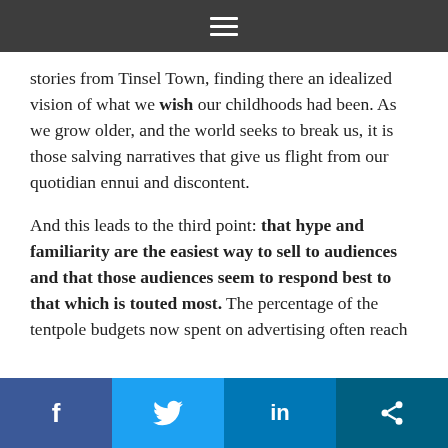≡
stories from Tinsel Town, finding there an idealized vision of what we wish our childhoods had been. As we grow older, and the world seeks to break us, it is those salving narratives that give us flight from our quotidian ennui and discontent.
And this leads to the third point: that hype and familiarity are the easiest way to sell to audiences and that those audiences seem to respond best to that which is touted most. The percentage of the tentpole budgets now spent on advertising often reach or surpass 50% of a film, a figure that was first breached by Miramax in the '90s. Now, it is the norm and should be considered as a key reason so many films and television shows continue on in one form or another in perpetuity. For a $100 million film, that means a full $50 million of advertising. For a $200 million film, we get $100 million in ads. And those marketing campaigns are well-orchestrated from beginning to end, based on a three-pronged approach that first builds momentum with teasers – going so far as having teasers
f  🐦  in  share